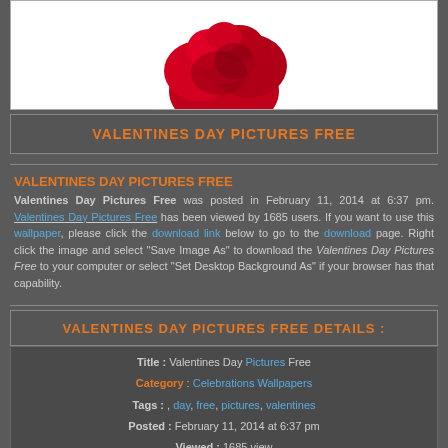[Figure (photo): Partial view of a red rose on white background]
VALENTINES DAY PICTURES FREE
VALENTINES DAY PICTURES FREE
Valentines Day Pictures Free was posted in February 11, 2014 at 6:37 pm. Valentines Day Pictures Free has been viewed by 1685 users. If you want to use this wallpaper, please click the download link below to go to the download page. Right click the image and select "Save Image As" to download the Valentines Day Pictures Free to your computer or select "Set Desktop Background As" if your browser has that capability.
VALENTINES DAY PICTURES FREE DETAILS :
Title : Valentines Day Pictures Free
Category : Celebrations Wallpapers
Tags : , day, free, pictures, valentines
Posted : February 11, 2014 at 6:37 pm
Viewed : 1685 view
File type : image/jpeg
Total: 12 Downloads
Your Screen Resolution : 800x600 Pixel